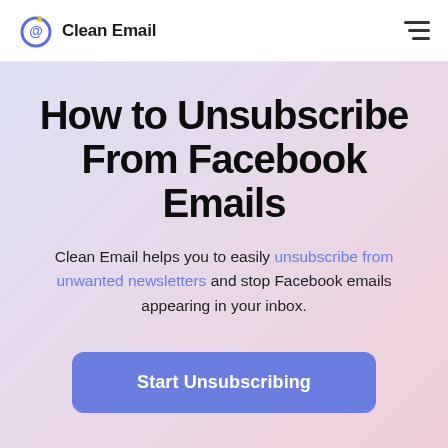Clean Email
How to Unsubscribe From Facebook Emails
Clean Email helps you to easily unsubscribe from unwanted newsletters and stop Facebook emails appearing in your inbox.
Start Unsubscribing